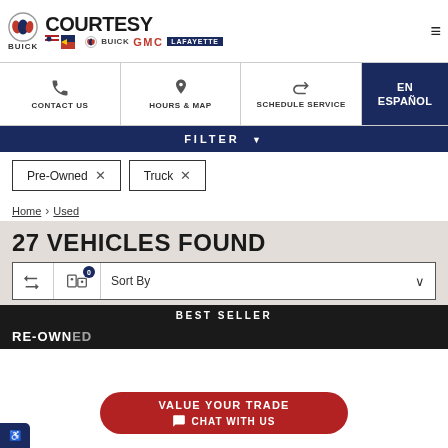Courtesy Buick GMC Lafayette
CONTACT US | HOURS & MAP | SCHEDULE SERVICE | EN ESPAÑOL
FILTER
Pre-Owned ×
Truck ×
Home > Used
27 VEHICLES FOUND
Sort By
BEST SELLER
VALUE YOUR TRADE  CHAT WITH US
RE-OWNED